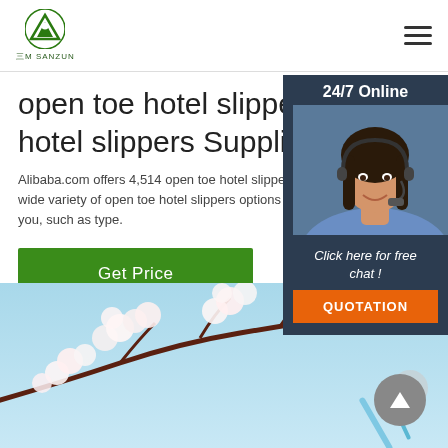[Figure (logo): Sanzun company logo - green triangle/mountain icon with Chinese and English text below]
open toe hotel slippers, open toe hotel slippers Suppliers ...
Alibaba.com offers 4,514 open toe hotel slippers wide variety of open toe hotel slippers options a you, such as type.
[Figure (photo): Customer service agent photo - woman with headset smiling, with 24/7 Online label above and dark blue background]
Click here for free chat !
QUOTATION
[Figure (photo): Cherry blossom branch with white flowers against light blue sky background, product/banner image at bottom of page]